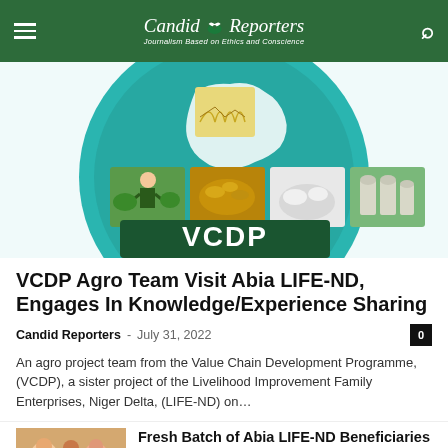Candid Reporters — Journalism Based on Ethics and Conscience
[Figure (photo): VCDP logo with agricultural images including rice, grains, a farmer, storage silos, and food products arranged in a circular teal/green design. Text 'VCDP' prominently displayed at the bottom of the circle.]
VCDP Agro Team Visit Abia LIFE-ND, Engages In Knowledge/Experience Sharing
Candid Reporters – July 31, 2022   0
An agro project team from the Value Chain Development Programme, (VCDP), a sister project of the Livelihood Improvement Family Enterprises, Niger Delta, (LIFE-ND) on…
[Figure (photo): Thumbnail photo showing people, likely beneficiaries, smiling and celebrating.]
Fresh Batch of Abia LIFE-ND Beneficiaries Jubilate Over Gifting of...